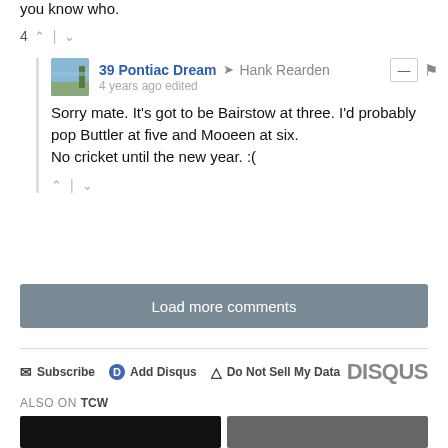you know who.
4 ^ | v
39 Pontiac Dream → Hank Rearden
4 years ago edited
Sorry mate. It's got to be Bairstow at three. I'd probably pop Buttler at five and Mooeen at six.
No cricket until the new year. :(
^ | v
Load more comments
Subscribe  Add Disqus  Do Not Sell My Data  DISQUS
ALSO ON TCW